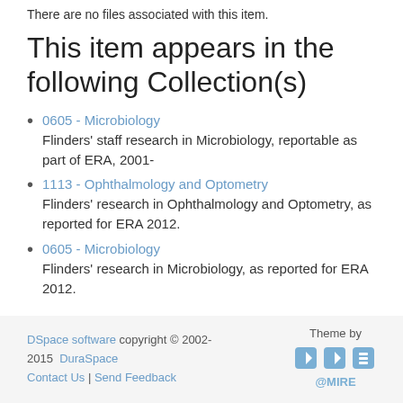There are no files associated with this item.
This item appears in the following Collection(s)
0605 - Microbiology
Flinders' staff research in Microbiology, reportable as part of ERA, 2001-
1113 - Ophthalmology and Optometry
Flinders' research in Ophthalmology and Optometry, as reported for ERA 2012.
0605 - Microbiology
Flinders' research in Microbiology, as reported for ERA 2012.
Show simple item record
DSpace software copyright © 2002-2015  DuraSpace  Contact Us | Send Feedback  Theme by @MIRE